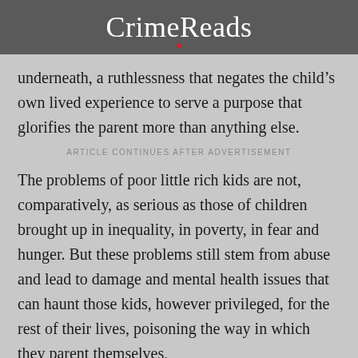CrimeReads
underneath, a ruthlessness that negates the child’s own lived experience to serve a purpose that glorifies the parent more than anything else.
ARTICLE CONTINUES AFTER ADVERTISEMENT
The problems of poor little rich kids are not, comparatively, as serious as those of children brought up in inequality, in poverty, in fear and hunger. But these problems still stem from abuse and lead to damage and mental health issues that can haunt those kids, however privileged, for the rest of their lives, poisoning the way in which they parent themselves,